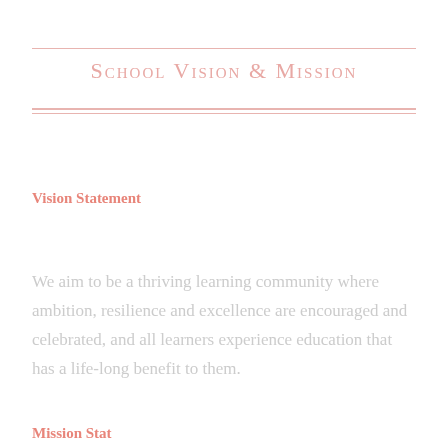School Vision & Mission
Vision Statement
We aim to be a thriving learning community where ambition, resilience and excellence are encouraged and celebrated, and all learners experience education that has a life-long benefit to them.
Mission Statement